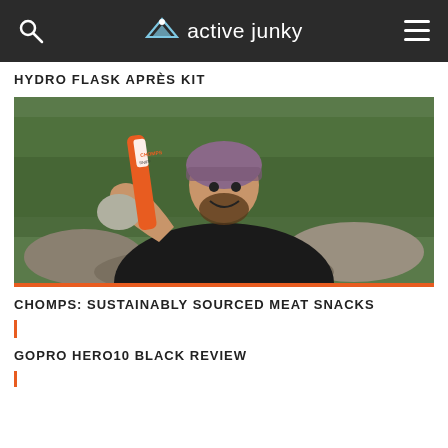active junky
HYDRO FLASK APRÈS KIT
[Figure (photo): Man in bike helmet and gloves holding up an orange Chomps meat snack stick toward the camera, outdoors with trees and rocks in background]
CHOMPS: SUSTAINABLY SOURCED MEAT SNACKS
GOPRO HERO10 BLACK REVIEW